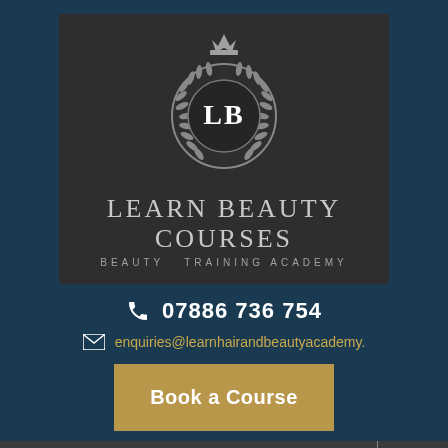[Figure (logo): Learn Beauty Courses logo — circular crest with LB initials, laurel wreath, and crown on dark background, with text LEARN BEAUTY COURSES and BEAUTY TRAINING ACADEMY below]
07886 736 754
enquiries@learnhairandbeautyacademy.
Book a Course
Menu